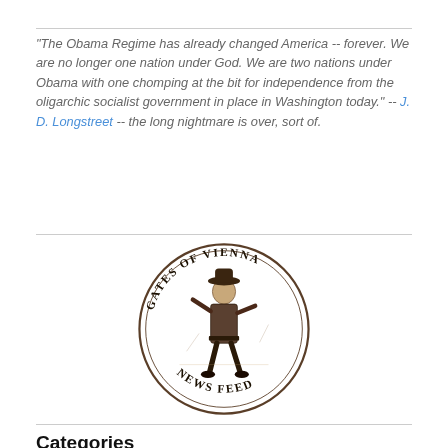"The Obama Regime has already changed America -- forever. We are no longer one nation under God. We are two nations under Obama with one chomping at the bit for independence from the oligarchic socialist government in place in Washington today." -- J. D. Longstreet -- the long nightmare is over, sort of.
[Figure (logo): Gates of Vienna News Feed circular logo with an illustration of a historical figure (boy/soldier) in the center, with text 'GATES OF VIENNA' arced at top and 'NEWS FEED' at bottom]
Categories
Select Category